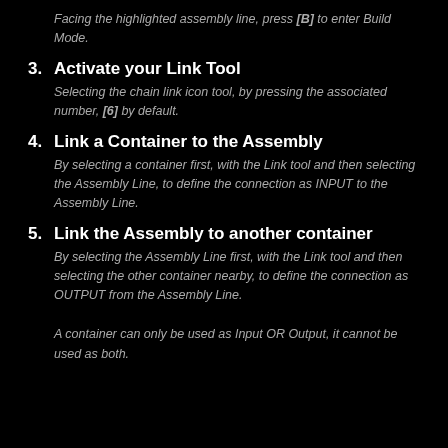Facing the highlighted assembly line, press [B] to enter Build Mode.
3. Activate your Link Tool
Selecting the chain link icon tool, by pressing the associated number, [6] by default.
4. Link a Container to the Assembly
By selecting a container first, with the Link tool and then selecting the Assembly Line, to define the connection as INPUT to the Assembly Line.
5. Link the Assembly to another container
By selecting the Assembly Line first, with the Link tool and then selecting the other container nearby, to define the connection as OUTPUT from the Assembly Line.
A container can only be used as Input OR Output, it cannot be used as both.